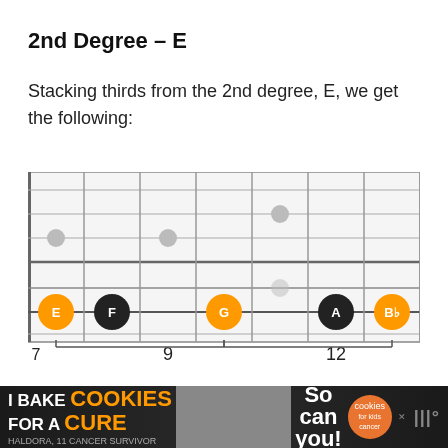2nd Degree – E
Stacking thirds from the 2nd degree, E, we get the following:
[Figure (illustration): Guitar fretboard diagram showing notes E (orange), F (black), G (orange), A (black), Bb (orange) on a string, with fret markers at 7, 9, and 12. Gray dots indicate other scale positions. Bracket annotations show Minor 3rd (3 semitones) intervals below.]
Minor 3rd (3 semitones)    Minor 3rd (3 semitones)
[Figure (photo): Advertisement bar: 'I Bake COOKIES For A CURE' with Haldora, 11 Cancer Survivor. So can you! Cookies for Kids Cancer logo. Close button X. Music app logo.]